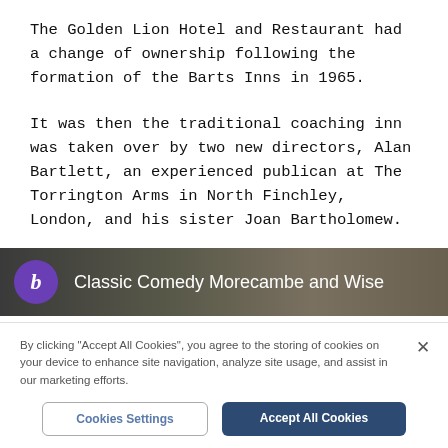The Golden Lion Hotel and Restaurant had a change of ownership following the formation of the Barts Inns in 1965.
It was then the traditional coaching inn was taken over by two new directors, Alan Bartlett, an experienced publican at The Torrington Arms in North Finchley, London, and his sister Joan Bartholomew.
[Figure (screenshot): Video thumbnail banner showing a purple circular 'b' logo icon and white text reading 'Classic Comedy Morecambe and Wise' on a dark background]
By clicking "Accept All Cookies", you agree to the storing of cookies on your device to enhance site navigation, analyze site usage, and assist in our marketing efforts.
Cookies Settings | Accept All Cookies